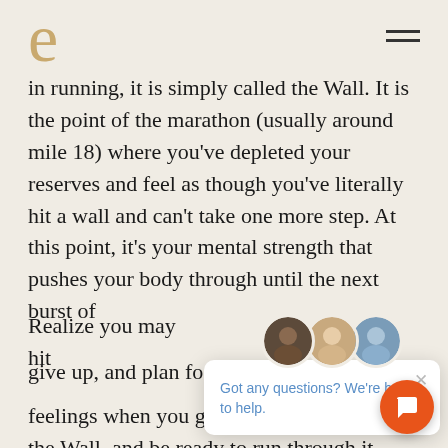e
in running, it is simply called the Wall. It is the point of the marathon (usually around mile 18) where you've depleted your reserves and feel as though you've literally hit a wall and can't take one more step. At this point, it's your mental strength that pushes your body through until the next burst of energy will.
Realize you may hit [the wall], don't give up, and plan for the feelings when you get there. Be ready for the Wall, and be ready to run through it.
[Figure (screenshot): Chat support popup with avatars of three support agents and text 'Got any questions? We're here to help.' with a close button, and an orange chat button in the bottom right corner.]